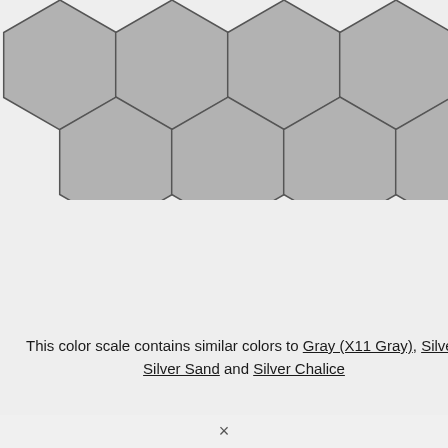[Figure (illustration): Two rows of gray hexagon tiles on a light gray background, arranged in a honeycomb pattern. Top row has 5 hexagons, second row has 5 hexagons offset.]
This color scale contains similar colors to Gray (X11 Gray), Silver, Silver Sand and Silver Chalice
×